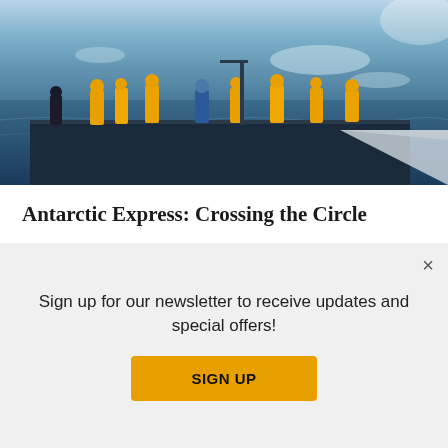[Figure (photo): Aerial view of people in yellow jackets standing on the deck of a ship navigating through icy Antarctic waters]
Antarctic Express: Crossing the Circle
11 day itinerary
Starting from £15,200 £10,830 (PER PERSON)
★★★★★ 19 Reviews
Sign up for our newsletter to receive updates and special offers!
SIGN UP